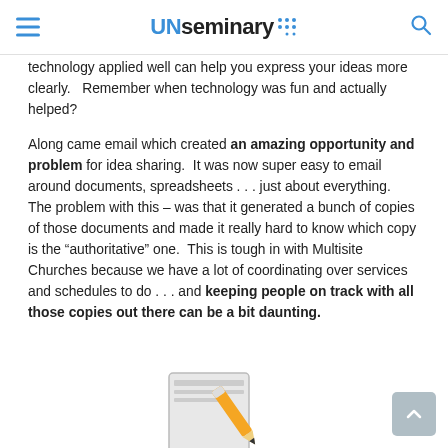UNseminary
technology applied well can help you express your ideas more clearly.   Remember when technology was fun and actually helped?
Along came email which created an amazing opportunity and problem for idea sharing.  It was now super easy to email around documents, spreadsheets . . . just about everything.  The problem with this – was that it generated a bunch of copies of those documents and made it really hard to know which copy is the “authoritative” one.  This is tough in with Multisite Churches because we have a lot of coordinating over services and schedules to do . . . and keeping people on track with all those copies out there can be a bit daunting.
[Figure (illustration): Partial illustration of a notepad with a pencil at the bottom of the page]